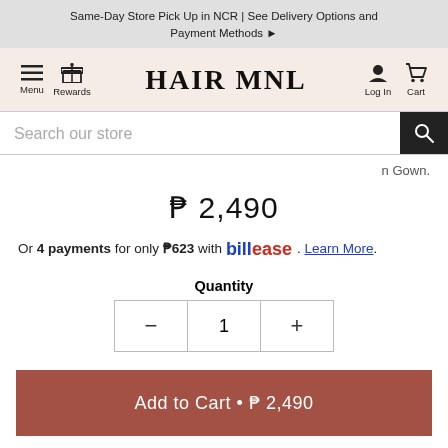Same-Day Store Pick Up in NCR | See Delivery Options and Payment Methods ▶
[Figure (screenshot): HairMNL website navigation bar with Menu, Rewards icons on left, HAIR MNL logo in center, Log In and Cart icons on right, and search bar below]
n Gown.
₱ 2,490
Or 4 payments for only ₱623 with billease. Learn More.
Quantity
- 1 +
Add to Cart • ₱ 2,490
Share   Pin